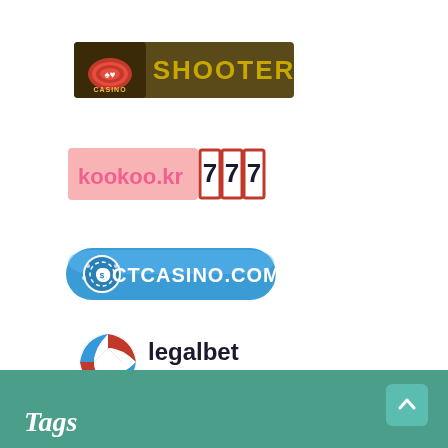[Figure (logo): Casino Shooter logo: dark olive/brown background with casino chips graphic on left and bold gold text 'SHOOTER' on right, with 'CASINO' text beneath chips]
[Figure (logo): kookoo.kr 777 logo: pink/salmon background with 'kookoo.kr' in pink text, followed by three red-bordered boxes each containing a bold '7']
[Figure (logo): OCTCASINO.COM logo: blue rounded rectangle button with white casino chip icon and white bold text 'OCTCASINO.COM']
[Figure (logo): legalbet casino logo: blue and red segmented ball/sphere icon on left, 'legalbet' in dark bold text and 'casino' in red text below]
Tags